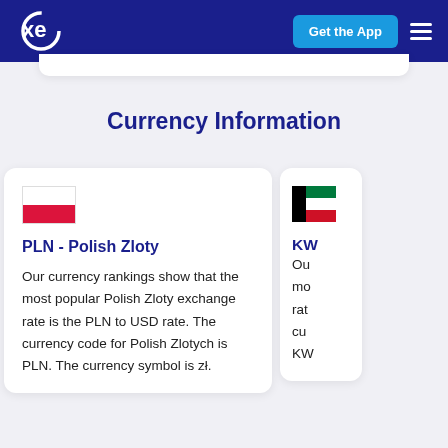XE - Get the App
Currency Information
PLN - Polish Zloty
Our currency rankings show that the most popular Polish Zloty exchange rate is the PLN to USD rate. The currency code for Polish Zlotych is PLN. The currency symbol is zł.
KW...